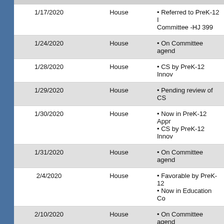| Date | Chamber | Action |
| --- | --- | --- |
| 1/17/2020 | House | • Referred to PreK-12 I... Committee -HJ 399 |
| 1/24/2020 | House | • On Committee agend... |
| 1/28/2020 | House | • CS by PreK-12 Innov... |
| 1/29/2020 | House | • Pending review of CS... |
| 1/30/2020 | House | • Now in PreK-12 Appr...
• CS by PreK-12 Innov... |
| 1/31/2020 | House | • On Committee agend... |
| 2/4/2020 | House | • Favorable by PreK-12...
• Now in Education Co... |
| 2/10/2020 | House | • On Committee agend... |
| 2/12/2020 | House | • CS/CS by- Education... |
| 2/14/2020 | House | • Pending review of CS... |
| 2/17/2020 | House | • Placed on Calendar -...
• CS/CS by Education... |